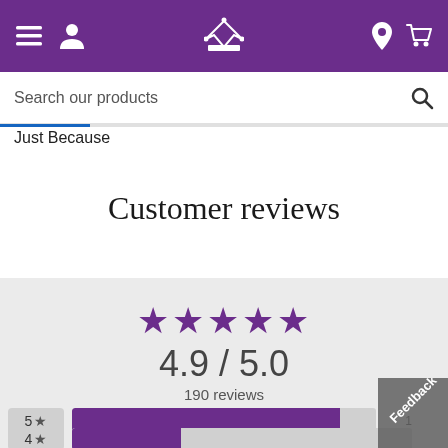[Figure (screenshot): Purple navigation bar with hamburger menu, user icon, crown logo, location pin, and shopping cart icons]
Search our products
Just Because
Customer reviews
[Figure (infographic): 5 purple stars rating display showing 4.9 / 5.0 with 190 reviews, plus rating breakdown bars for 5-star and 4-star ratings]
4.9 / 5.0
190 reviews
5 ★
4 ★